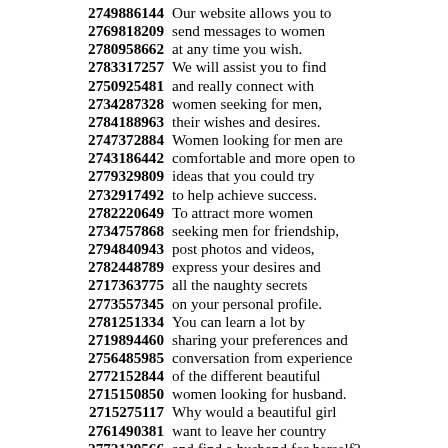2749886144 Our website allows you to
2769818209 send messages to women
2780958662 at any time you wish.
2783317257 We will assist you to find
2750925481 and really connect with
2734287328 women seeking for men,
2784188963 their wishes and desires.
2747372884 Women looking for men are
2743186442 comfortable and more open to
2779329809 ideas that you could try
2732917492 to help achieve success.
2782220649 To attract more women
2734757868 seeking men for friendship,
2794840943 post photos and videos,
2782448789 express your desires and
2717363775 all the naughty secrets
2773557345 on your personal profile.
2781251334 You can learn a lot by
2719894460 sharing your preferences and
2756485985 conversation from experience
2772152844 of the different beautiful
2715150850 women looking for husband.
2715275117 Why would a beautiful girl
2761490381 want to leave her country
2772129566 and find a husband for herself?